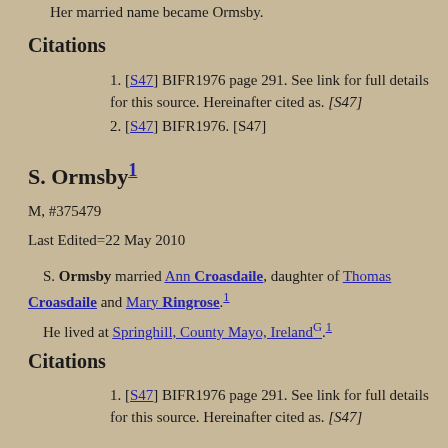Her married name became Ormsby.
Citations
[S47] BIFR1976 page 291. See link for full details for this source. Hereinafter cited as. [S47]
[S47] BIFR1976. [S47]
S. Ormsby1
M, #375479
Last Edited=22 May 2010
S. Ormsby married Ann Croasdaile, daughter of Thomas Croasdaile and Mary Ringrose.1
He lived at Springhill, County Mayo, Ireland G.1
Citations
[S47] BIFR1976 page 291. See link for full details for this source. Hereinafter cited as. [S47]